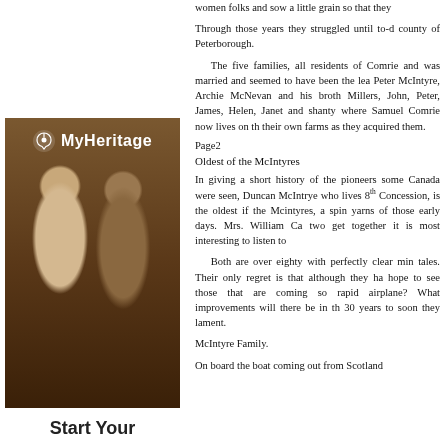women folks and sow a little grain so that they
Through those years they struggled until to-d county of Peterborough.
The five families, all residents of Comrie and was married and seemed to have been the lea Peter McIntyre, Archie McNevan and his broth Millers, John, Peter, James, Helen, Janet and shanty where Samuel Comrie now lives on th their own farms as they acquired them.
Page2
Oldest of the McIntyres
In giving a short history of the pioneers some Canada were seen, Duncan McIntrye who lives 8th Concession, is the oldest if the Mcintyres, a spin yarns of those early days. Mrs. William Ca two get together it is most interesting to listen to
Both are over eighty with perfectly clear min tales. Their only regret is that although they ha hope to see those that are coming so rapid airplane? What improvements will there be in th 30 years to soon they lament.
McIntyre Family.
On board the boat coming out from Scotland
[Figure (photo): Sepia-toned wedding photograph of a bride and groom, with MyHeritage logo overlay at top]
Start Your